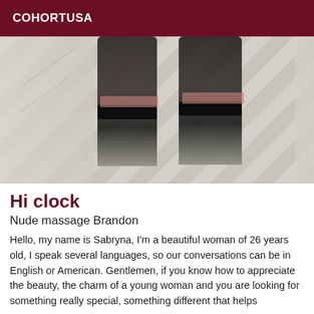COHORTUSA
[Figure (photo): Photo showing legs wearing dark stockings with black bands at the top, standing on a tiled floor.]
Hi clock
Nude massage Brandon
Hello, my name is Sabryna, I'm a beautiful woman of 26 years old, I speak several languages, so our conversations can be in English or American. Gentlemen, if you know how to appreciate the beauty, the charm of a young woman and you are looking for something really special, something different that helps